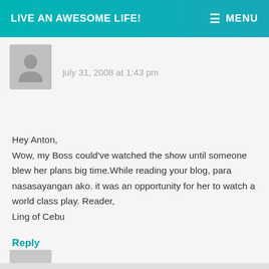LIVE AN AWESOME LIFE! MENU
july 31, 2008 at 1:43 pm
Hey Anton,
Wow, my Boss could've watched the show until someone blew her plans big time.While reading your blog, para nasasayangan ako. it was an opportunity for her to watch a world class play. Reader,
Ling of Cebu
Reply